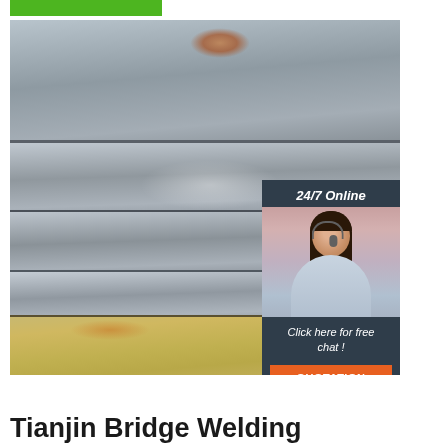[Figure (photo): Green navigation bar at top of webpage]
[Figure (photo): Stacked steel/metal plates photographed at an angle, showing multiple flat metal sheets piled on top of each other with rust patches visible, overlaid with a 24/7 online chat widget featuring a customer service representative with headset, and a TOP logo in the bottom right corner]
Tianjin Bridge Welding